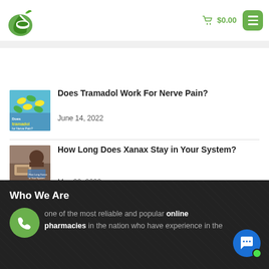[Figure (logo): Green pharmacy leaf and mortar pestle logo]
🛒 $0.00
[Figure (illustration): Thumbnail image of tramadol pills on blue background with text 'Does tramadol for Nerve Pain?']
Does Tramadol Work For Nerve Pain?
June 14, 2022
[Figure (photo): Thumbnail image related to Xanax stay in system]
How Long Does Xanax Stay in Your System?
May 20, 2022
Who We Are
one of the most reliable and popular online pharmacies in the nation who have experience in the